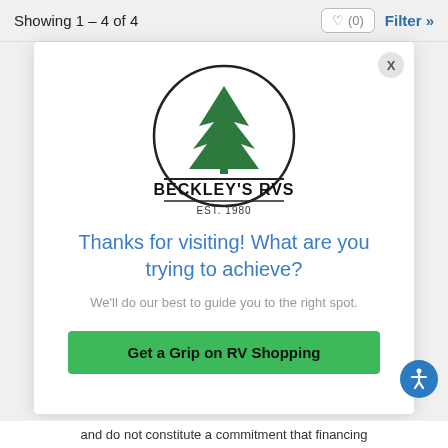Showing 1 – 4 of 4
[Figure (logo): Beckley's RVs logo — circular logo with a pine tree silhouette above the text BECKLEY'S RVS and EST. 1980]
Thanks for visiting! What are you trying to achieve?
We'll do our best to guide you to the right spot.
Get a Grip on RV Shopping
and do not constitute a commitment that financing